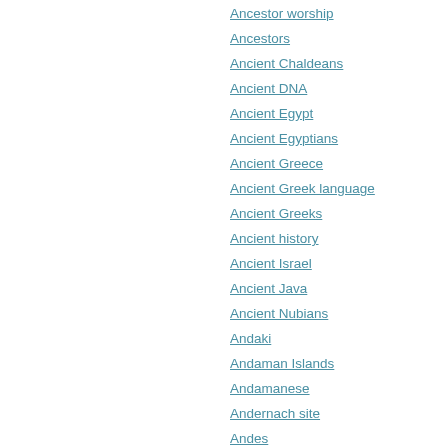Ancestor worship
Ancestors
Ancient Chaldeans
Ancient DNA
Ancient Egypt
Ancient Egyptians
Ancient Greece
Ancient Greek language
Ancient Greeks
Ancient history
Ancient Israel
Ancient Java
Ancient Nubians
Andaki
Andaman Islands
Andamanese
Andernach site
Andes
Andhra Pradesh
Andorobo (see Dorobo)